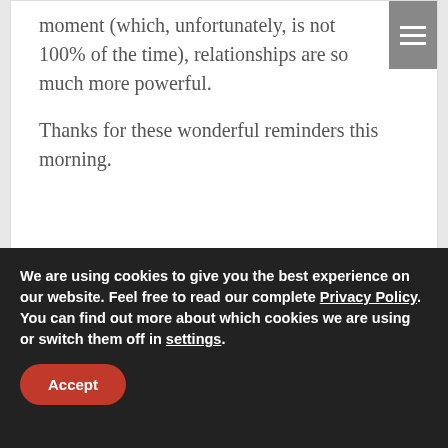moment (which, unfortunately, is not 100% of the time), relationships are so much more powerful.

Thanks for these wonderful reminders this morning.
Reply
Renee Ludwigs
February 2, 2010 at 3:41 pm
We are using cookies to give you the best experience on our website. Feel free to read our complete Privacy Policy. You can find out more about which cookies we are using or switch them off in settings.
Accept